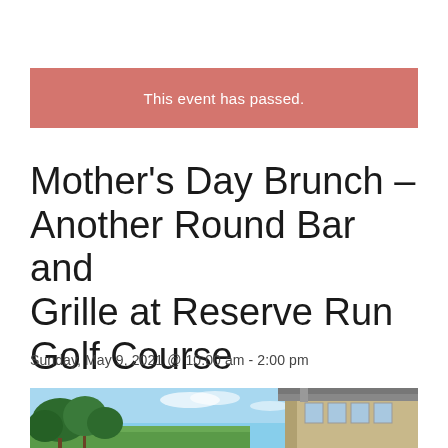This event has passed.
Mother's Day Brunch – Another Round Bar and Grille at Reserve Run Golf Course
Sunday, May 9, 2021 @ 10:00 am - 2:00 pm
[Figure (photo): Outdoor photo showing trees and a golf course clubhouse building under a blue sky]